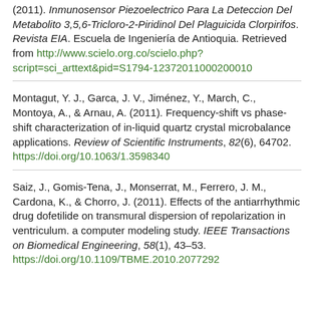(2011). Inmunosensor Piezoelectrico Para La Deteccion Del Metabolito 3,5,6-Tricloro-2-Piridinol Del Plaguicida Clorpirifos. Revista EIA. Escuela de Ingeniería de Antioquia. Retrieved from http://www.scielo.org.co/scielo.php?script=sci_arttext&pid=S1794-12372011000200010
Montagut, Y. J., Garca, J. V., Jiménez, Y., March, C., Montoya, A., & Arnau, A. (2011). Frequency-shift vs phase-shift characterization of in-liquid quartz crystal microbalance applications. Review of Scientific Instruments, 82(6), 64702. https://doi.org/10.1063/1.3598340
Saiz, J., Gomis-Tena, J., Monserrat, M., Ferrero, J. M., Cardona, K., & Chorro, J. (2011). Effects of the antiarrhythmic drug dofetilide on transmural dispersion of repolarization in ventriculum. a computer modeling study. IEEE Transactions on Biomedical Engineering, 58(1), 43–53. https://doi.org/10.1109/TBME.2010.2077292